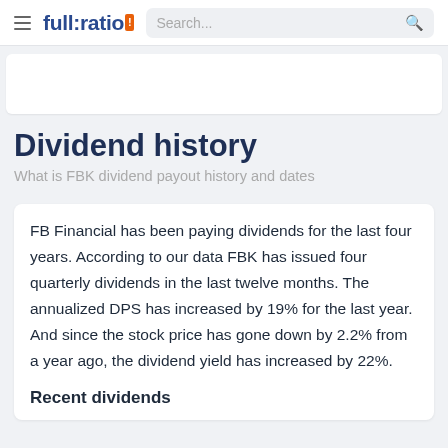full:ratio | Search...
Dividend history
What is FBK dividend payout history and dates
FB Financial has been paying dividends for the last four years. According to our data FBK has issued four quarterly dividends in the last twelve months. The annualized DPS has increased by 19% for the last year. And since the stock price has gone down by 2.2% from a year ago, the dividend yield has increased by 22%.
Recent dividends